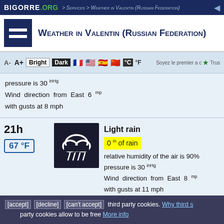BIGORRE .ORG > Services > Weather in Valentin (Russian Federation)
Weather in Valentin (Russian Federation)
A- A+ Bright Dark °C °F
pressure is 30 inHg
Wind direction from East 6 mp with gusts at 8 mph
21h
67 °F
Light rain
0 in of rain
relative humidity of the air is 90%
pressure is 30 inHg
Wind direction from East 8 mp with gusts at 11 mph
[accept] [decline] [can't accept] third party cookies. Why third party cookies allow to be free More info